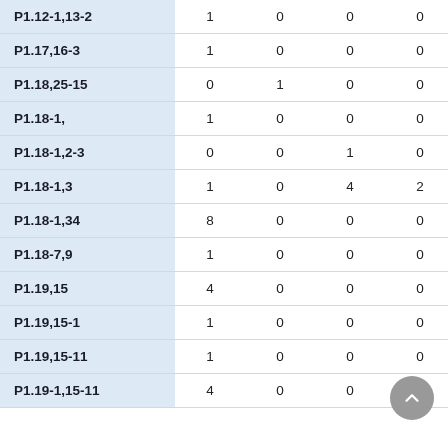| P1.12-1,13-2 | 1 | 0 | 0 | 0 | 1 |
| P1.17,16-3 | 1 | 0 | 0 | 0 | 1 |
| P1.18,25-15 | 0 | 1 | 0 | 0 | 1 |
| P1.18-1, | 1 | 0 | 0 | 0 | 1 |
| P1.18-1,2-3 | 0 | 0 | 1 | 0 | 1 |
| P1.18-1,3 | 1 | 0 | 4 | 2 | 7 |
| P1.18-1,34 | 8 | 0 | 0 | 0 | 8 |
| P1.18-7,9 | 1 | 0 | 0 | 0 | 1 |
| P1.19,15 | 4 | 0 | 0 | 0 | 4 |
| P1.19,15-1 | 1 | 0 | 0 | 0 | 1 |
| P1.19,15-11 | 1 | 0 | 0 | 0 | 1 |
| P1.19-1,15-11 | 4 | 0 | 0 | 0 | 4 |